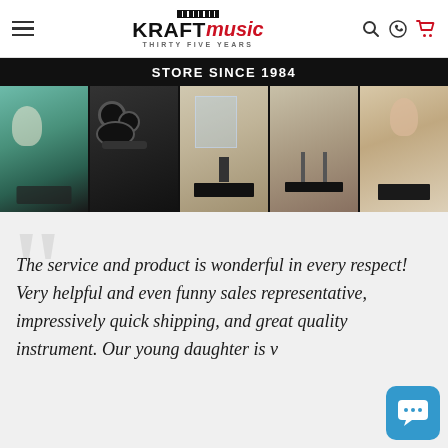Kraft Music - Thirty Five Years
[Figure (photo): Five photos of customers with musical instruments (keyboard/organ, electronic drum kit, digital piano, keyboard on stand, woman with piano)]
STORE SINCE 1984
The service and product is wonderful in every respect! Very helpful and even funny sales representative, impressively quick shipping, and great quality instrument. Our young daughter is v...